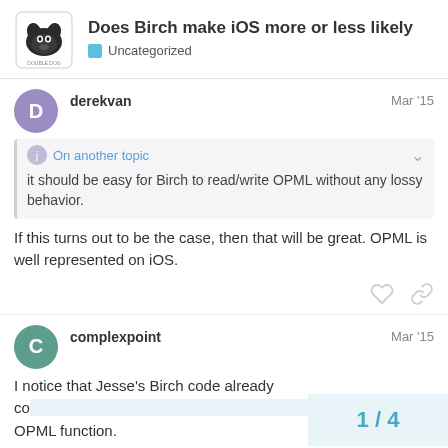Does Birch make iOS more or less likely | Uncategorized
derekvan — Mar '15
On another topic — it should be easy for Birch to read/write OPML without any lossy behavior.
If this turns out to be the case, then that will be great. OPML is well represented on iOS.
complexpoint — Mar '15
I notice that Jesse's Birch code already co OPML function.
1 / 4